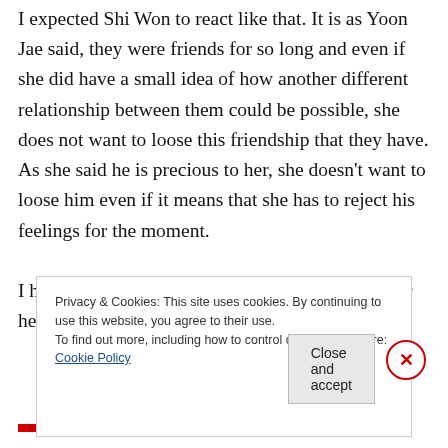I expected Shi Won to react like that. It is as Yoon Jae said, they were friends for so long and even if she did have a small idea of how another different relationship between them could be possible, she does not want to loose this friendship that they have. As she said he is precious to her, she doesn't want to loose him even if it means that she has to reject his feelings for the moment.
I have a small question: Shi Won goes to Seoul for her studies, but weren't Yoon Jae and Joon
Privacy & Cookies: This site uses cookies. By continuing to use this website, you agree to their use.
To find out more, including how to control cookies, see here: Cookie Policy
Close and accept